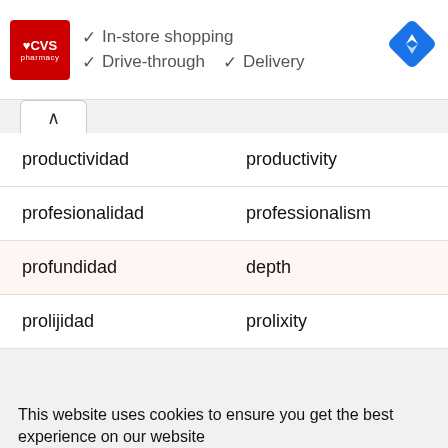[Figure (screenshot): CVS Pharmacy advertisement banner showing In-store shopping, Drive-through, and Delivery options with checkmarks, a CVS logo, and a navigation icon]
| productividad | productivity |
| profesionalidad | professionalism |
| profundidad | depth |
| prolijidad | prolixity |
This website uses cookies to ensure you get the best experience on our website
Got it!